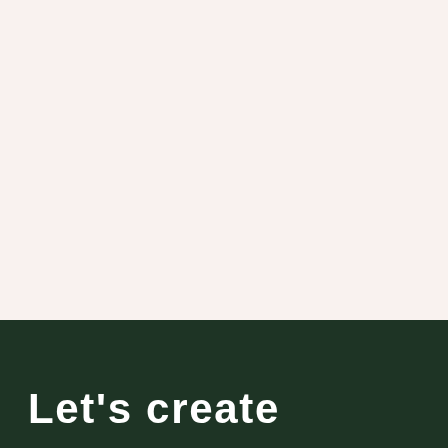[Figure (illustration): Large cream/off-white background area occupying the top portion of the page]
Let's create